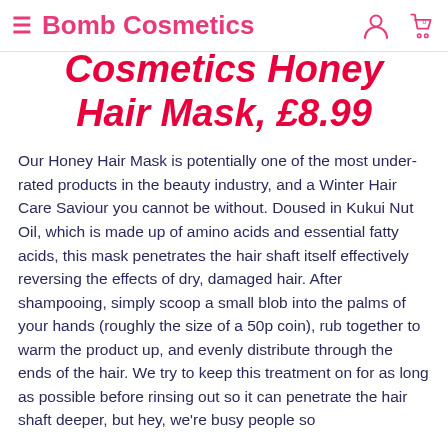≡ Bomb Cosmetics
Cosmetics Honey Hair Mask, £8.99
Our Honey Hair Mask is potentially one of the most under-rated products in the beauty industry, and a Winter Hair Care Saviour you cannot be without. Doused in Kukui Nut Oil, which is made up of amino acids and essential fatty acids, this mask penetrates the hair shaft itself effectively reversing the effects of dry, damaged hair. After shampooing, simply scoop a small blob into the palms of your hands (roughly the size of a 50p coin), rub together to warm the product up, and evenly distribute through the ends of the hair. We try to keep this treatment on for as long as possible before rinsing out so it can penetrate the hair shaft deeper, but hey, we're busy people so